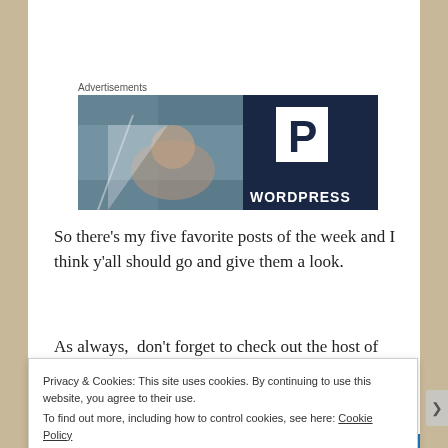Advertisements
[Figure (photo): WordPress advertisement banner: left half shows a blurred photo of a smiling person through a window; right half is dark navy blue with a white 'P' logo and 'WORDPRESS' text in white at the bottom.]
So there’s my five favorite posts of the week and I think y’all should go and give them a look.
As always,  don’t forget to check out the host of Blogger
Privacy & Cookies: This site uses cookies. By continuing to use this website, you agree to their use.
To find out more, including how to control cookies, see here: Cookie Policy
Close and accept